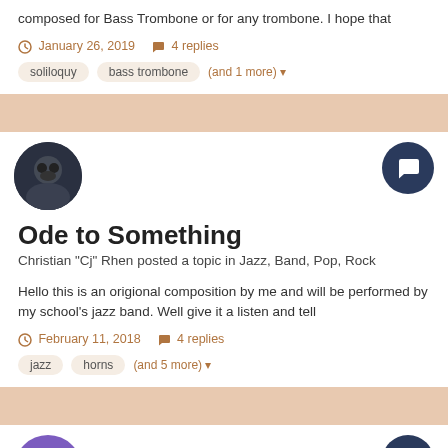composed for Bass Trombone or for any trombone. I hope that
January 26, 2019   4 replies
soliloquy
bass trombone
(and 1 more)
Ode to Something
Christian "Cj" Rhen posted a topic in Jazz, Band, Pop, Rock
Hello this is an origional composition by me and will be performed by my school's jazz band. Well give it a listen and tell
February 11, 2018   4 replies
jazz
horns
(and 5 more)
Experiment 6 30